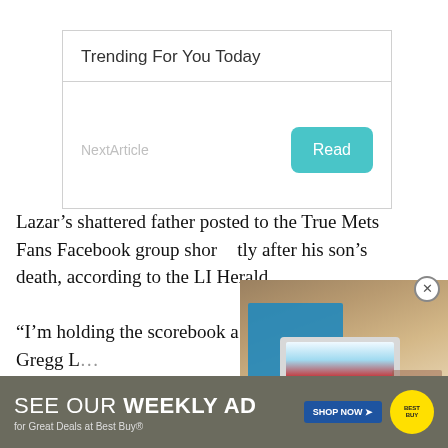Trending For You Today
NextArticle
Read
Lazar’s shattered father posted to the True Mets Fans Facebook group shortly after his son’s death, according to the LI Herald.

“I’m holding the scorebook a… the biggest smile,” Gregg L…
[Figure (screenshot): Video thumbnail showing a child using a laptop, with caption 'ONLINE EDUCATION PRIVACY']
[Figure (infographic): Best Buy advertisement: SEE OUR WEEKLY AD for Great Deals at Best Buy® SHOP NOW]